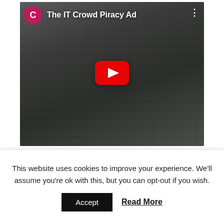[Figure (screenshot): YouTube video embed showing 'The IT Crowd Piracy Ad' with a YouTube play button overlay. The thumbnail shows a man crouching against a brick wall. The video header shows a pink/magenta circular avatar with letter 'C' and the title 'The IT Crowd Piracy Ad', with a three-dot menu icon on the right.]
Share this:
This website uses cookies to improve your experience. We'll assume you're ok with this, but you can opt-out if you wish.